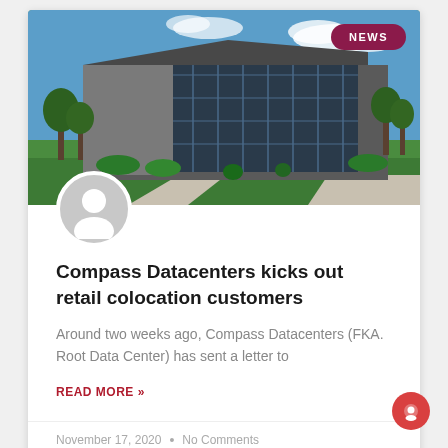[Figure (photo): Exterior photo of a modern data center building with glass facade, surrounded by green lawn and trees under a blue sky with clouds. A dark purple 'NEWS' badge appears in the top-right corner of the image.]
Compass Datacenters kicks out retail colocation customers
Around two weeks ago, Compass Datacenters (FKA. Root Data Center) has sent a letter to
READ MORE »
November 17, 2020  •  No Comments